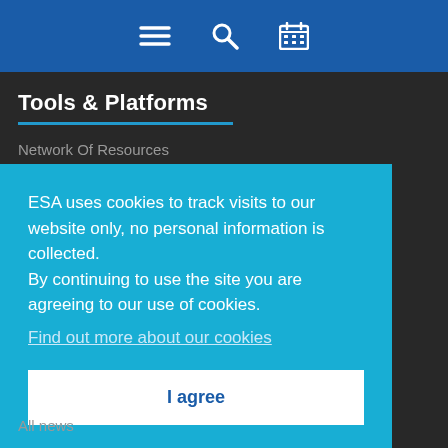[Navigation bar with menu, search, and calendar icons]
Tools & Platforms
Network Of Resources
Common Architecture
Scientific toolboxes
ESA uses cookies to track visits to our website only, no personal information is collected.
By continuing to use the site you are agreeing to our use of cookies.
Find out more about our cookies
I agree
All news